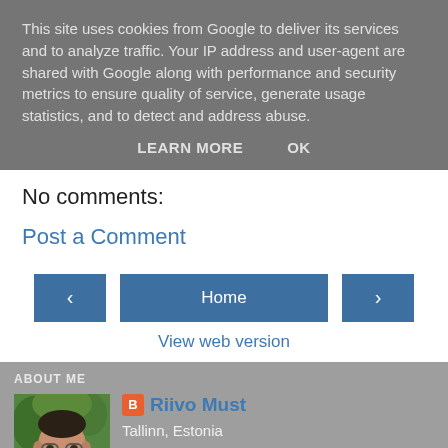This site uses cookies from Google to deliver its services and to analyze traffic. Your IP address and user-agent are shared with Google along with performance and security metrics to ensure quality of service, generate usage statistics, and to detect and address abuse.
LEARN MORE    OK
No comments:
Post a Comment
‹    Home    ›
View web version
ABOUT ME
[Figure (photo): Profile photo of Riivo Must, a man with glasses outdoors with green trees in background]
Riivo Must
Tallinn, Estonia
View my complete profile